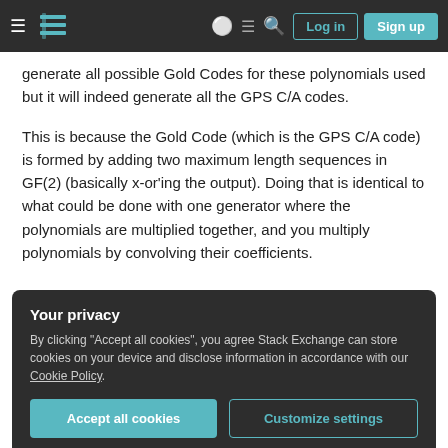Stack Exchange navigation bar with Log in and Sign up buttons
generate all possible Gold Codes for these polynomials used but it will indeed generate all the GPS C/A codes.
This is because the Gold Code (which is the GPS C/A code) is formed by adding two maximum length sequences in GF(2) (basically x-or'ing the output). Doing that is identical to what could be done with one generator where the polynomials are multiplied together, and you multiply polynomials by convolving their coefficients.
Your privacy
By clicking "Accept all cookies", you agree Stack Exchange can store cookies on your device and disclose information in accordance with our Cookie Policy.
Accept all cookies  Customize settings
The interesting point about the Gold Code is that if